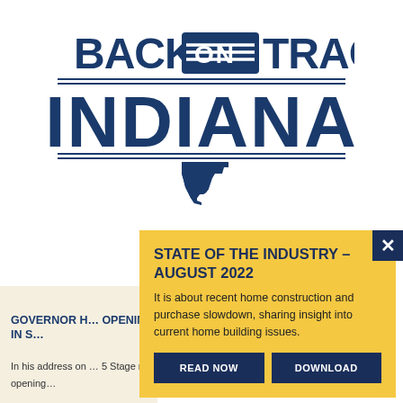[Figure (logo): Back on Track Indiana logo — bold navy text BACK ON TRACK with a train/state icon, large INDIANA below, horizontal rules, Indiana state silhouette]
STATE OF THE INDUSTRY – AUGUST 2022
It is about recent home construction and purchase slowdown, sharing insight into current home building issues.
READ NOW
DOWNLOAD
GOVERNOR H… OPENING IN S…
In his address on… 5 Stage re-opening…